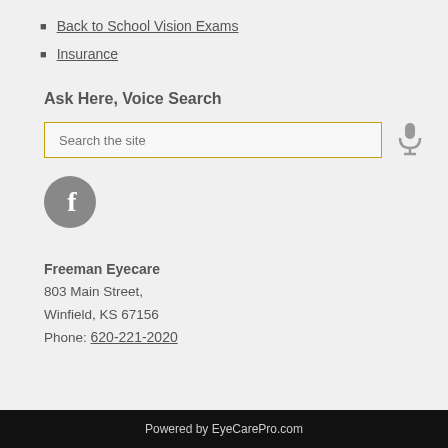Back to School Vision Exams
Insurance
Ask Here, Voice Search
[Figure (other): Search input box with placeholder text 'Search the site' and a microphone icon for voice search]
[Figure (other): Facebook social media icon button - grey circle with white letter f]
Freeman Eyecare
803 Main Street,
Winfield, KS 67156
Phone: 620-221-2020
Powered by EyeCarePro.com